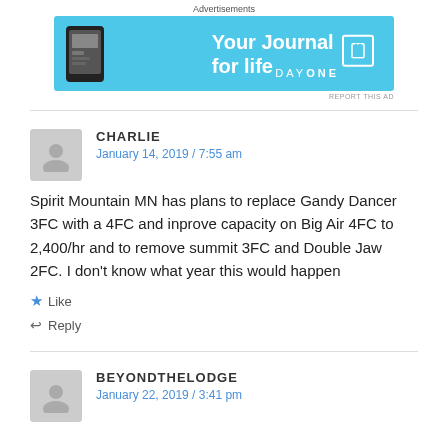[Figure (other): Advertisement banner for Day One app - 'Your Journal for life' on blue background]
CHARLIE
January 14, 2019 / 7:55 am
Spirit Mountain MN has plans to replace Gandy Dancer 3FC with a 4FC and inprove capacity on Big Air 4FC to 2,400/hr and to remove summit 3FC and Double Jaw 2FC. I don't know what year this would happen
Like
Reply
BEYONDTHELODGE
January 22, 2019 / 3:41 pm